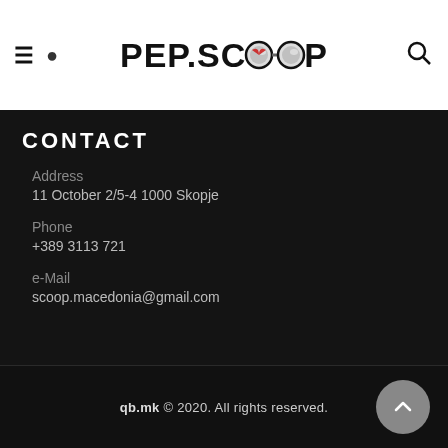PEP.SCOOP (logo with goggles icon)
CONTACT
Address
11 October 2/5-4 1000 Skopje
Phone
+389 3113 721
e-Mail
scoop.macedonia@gmail.com
qb.mk © 2020. All rights reserved.